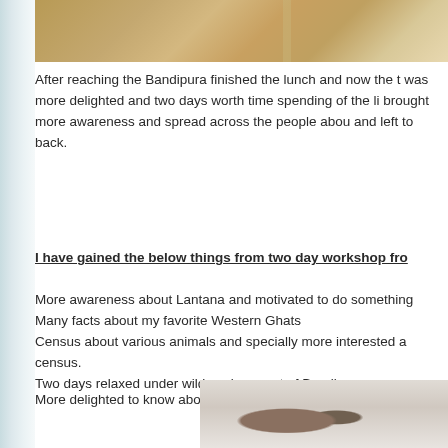[Figure (photo): Top image showing archaeological or outdoor scene with soil, rocks and objects]
After reaching the Bandipura finished the lunch and now the t was more delighted and two days worth time spending of the li brought more awareness and spread across the people abou and left to back.
I have gained the below things from two day workshop fro
More awareness about Lantana and motivated to do something
Many facts about my favorite Western Ghats
Census about various animals and specially more interested a census.
Two days relaxed under wild environment of Bandipura
More delighted to know about the CATT and their sincere effort
[Figure (photo): Bottom image showing what appears to be animal tracks or small creature in outdoor environment]